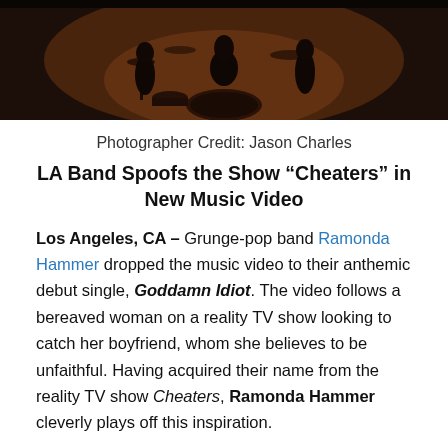[Figure (photo): Dark concert/band photo showing a drummer and band members performing on stage with warm amber stage lighting]
Photographer Credit: Jason Charles
LA Band Spoofs the Show “Cheaters” in New Music Video
Los Angeles, CA – Grunge-pop band Ramonda Hammer dropped the music video to their anthemic debut single, Goddamn Idiot. The video follows a bereaved woman on a reality TV show looking to catch her boyfriend, whom she believes to be unfaithful. Having acquired their name from the reality TV show Cheaters, Ramonda Hammer cleverly plays off this inspiration.
To make the video for “Goddamn Idiot”, the band teamed up with director Ariel Gardner of Dan Harmon’s comedy